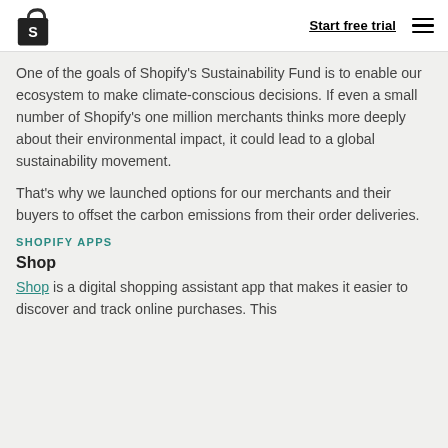Start free trial
One of the goals of Shopify's Sustainability Fund is to enable our ecosystem to make climate-conscious decisions. If even a small number of Shopify's one million merchants thinks more deeply about their environmental impact, it could lead to a global sustainability movement.
That's why we launched options for our merchants and their buyers to offset the carbon emissions from their order deliveries.
SHOPIFY APPS
Shop
Shop is a digital shopping assistant app that makes it easier to discover and track online purchases. This